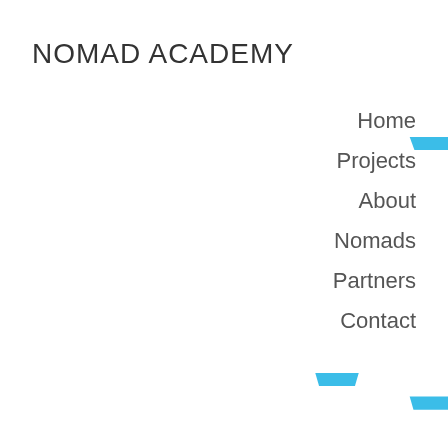NOMAD ACADEMY
Home
Projects
About
Nomads
Partners
Contact
[Figure (illustration): Three blue trapezoid shapes scattered on the lower portion of the page: one in the upper-right area, one in the lower-center-left area, and one in the lower-right area.]